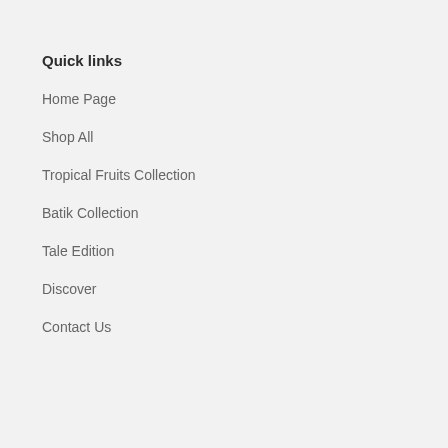Quick links
Home Page
Shop All
Tropical Fruits Collection
Batik Collection
Tale Edition
Discover
Contact Us